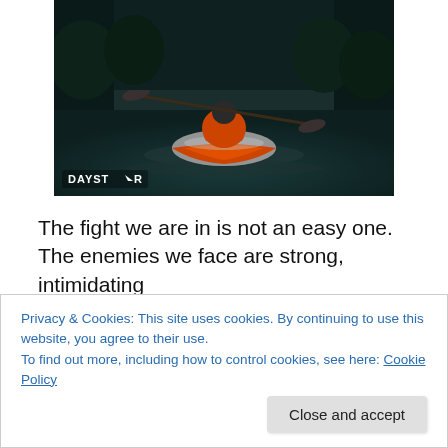[Figure (photo): Person kayaking away from camera in a dark river, wearing an orange life jacket. Daystar logo watermark in bottom-left corner.]
The fight we are in is not an easy one. The enemies we face are strong, intimidating
and formidable. Their goal is to take us down, to make us
Privacy & Cookies: This site uses cookies. By continuing to use this website, you agree to their use.
To find out more, including how to control cookies, see here: Cookie Policy
Can we win when the odds are stacked heavily against